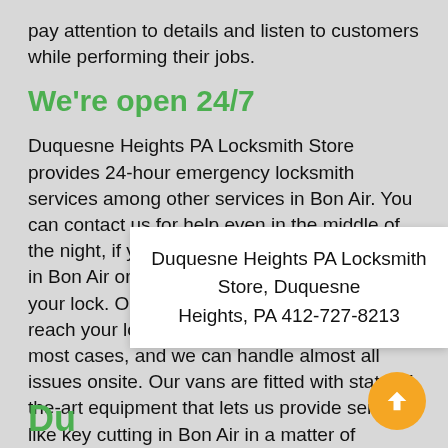pay attention to details and listen to customers while performing their jobs.
We're open 24/7
Duquesne Heights PA Locksmith Store provides 24-hour emergency locksmith services among other services in Bon Air. You can contact us for help even in the middle of the night, if you leave your keys locked in car in Bon Air or your key happens to break in your lock. Our mobile locksmith vans can reach your location in a matter of minutes, in most cases, and we can handle almost all issues onsite. Our vans are fitted with state-of-the-art equipment that lets us provide services like key cutting in Bon Air in a matter of minutes. We carry high-quality cutti...
Duquesne Heights PA Locksmith Store, Duquesne Heights, PA 412-727-8213
Du...